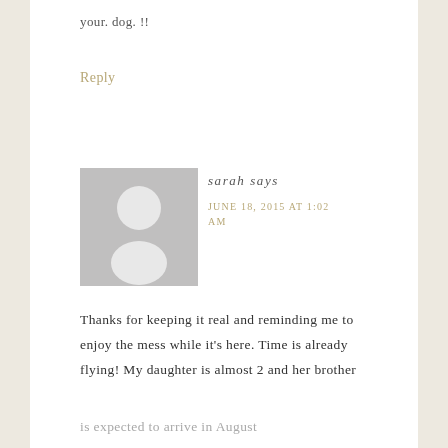your. dog. !!
Reply
[Figure (illustration): Default grey avatar/profile placeholder image showing a silhouette of a person (head and shoulders) on a grey background]
sarah says
JUNE 18, 2015 AT 1:02 AM
Thanks for keeping it real and reminding me to enjoy the mess while it's here. Time is already flying! My daughter is almost 2 and her brother is expected to arrive in August